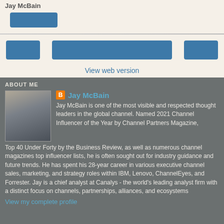Jay McBain
[Figure (other): Blue button/nav element in top section]
[Figure (other): Three blue navigation buttons row]
View web version
ABOUT ME
[Figure (photo): Headshot photo of Jay McBain, a man in a suit smiling]
Jay McBain
Jay McBain is one of the most visible and respected thought leaders in the global channel. Named 2021 Channel Influencer of the Year by Channel Partners Magazine, Top 40 Under Forty by the Business Review, as well as numerous channel magazines top influencer lists, he is often sought out for industry guidance and future trends. He has spent his 28-year career in various executive channel sales, marketing, and strategy roles within IBM, Lenovo, ChannelEyes, and Forrester. Jay is a chief analyst at Canalys - the world's leading analyst firm with a distinct focus on channels, partnerships, alliances, and ecosystems
View my complete profile